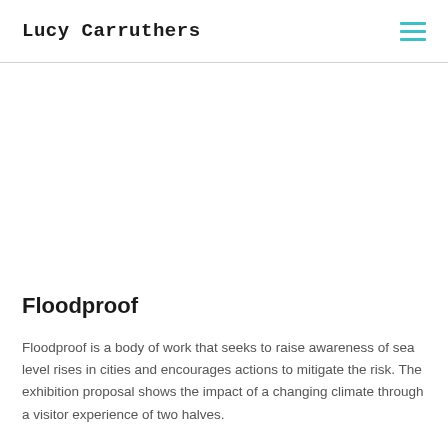Lucy Carruthers
Floodproof
Floodproof is a body of work that seeks to raise awareness of sea level rises in cities and encourages actions to mitigate the risk. The exhibition proposal shows the impact of a changing climate through a visitor experience of two halves.